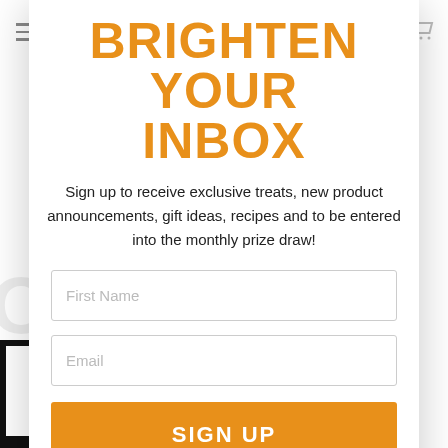BRIGHTEN YOUR INBOX
Sign up to receive exclusive treats, new product announcements, gift ideas, recipes and to be entered into the monthly prize draw!
First Name
Email
SIGN UP
No Thanks